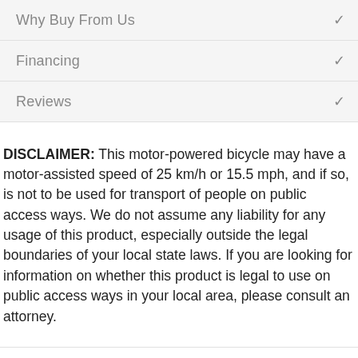Why Buy From Us
Financing
Reviews
DISCLAIMER: This motor-powered bicycle may have a motor-assisted speed of 25 km/h or 15.5 mph, and if so, is not to be used for transport of people on public access ways. We do not assume any liability for any usage of this product, especially outside the legal boundaries of your local state laws. If you are looking for information on whether this product is legal to use on public access ways in your local area, please consult an attorney.
Questions & Answers